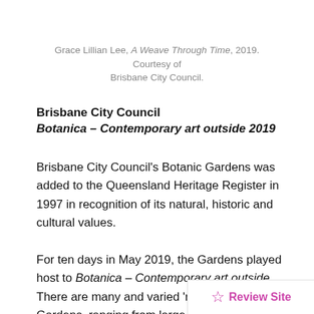Grace Lillian Lee, A Weave Through Time, 2019. Courtesy of Brisbane City Council.
Brisbane City Council
Botanica – Contemporary art outside 2019
Brisbane City Council's Botanic Gardens was added to the Queensland Heritage Register in 1997 in recognition of its natural, historic and cultural values.
For ten days in May 2019, the Gardens played host to Botanica – Contemporary art outside. There are many and varied 'rooms' within the Gardens, ranging from large open grassed areas, rainforests, water lily-filled lagoons, a mangrove boardwalk and an avenue of Bu